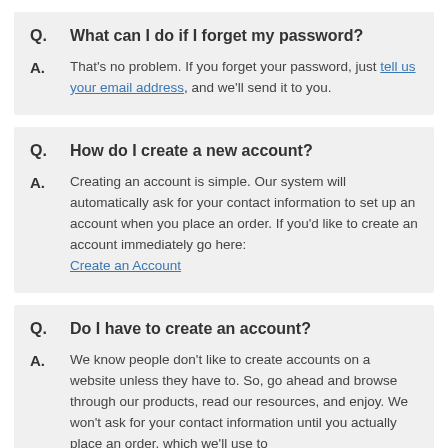Q. What can I do if I forget my password?
A. That's no problem. If you forget your password, just tell us your email address, and we'll send it to you.
Q. How do I create a new account?
A. Creating an account is simple. Our system will automatically ask for your contact information to set up an account when you place an order. If you'd like to create an account immediately go here: Create an Account
Q. Do I have to create an account?
A. We know people don't like to create accounts on a website unless they have to. So, go ahead and browse through our products, read our resources, and enjoy. We won't ask for your contact information until you actually place an order, which we'll use to